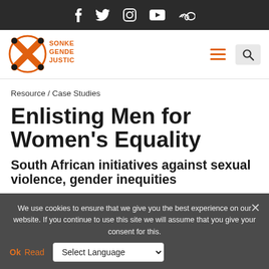Social media icons bar: Facebook, Twitter, Instagram, YouTube, SoundCloud
[Figure (logo): Sonke Gender Justice logo — orange circle with X pattern and dots, text SONKE GENDER JUSTICE in orange]
Resource / Case Studies
Enlisting Men for Women's Equality
South African initiatives against sexual violence, gender inequities
We use cookies to ensure that we give you the best experience on our website. If you continue to use this site we will assume that you give your consent for this.